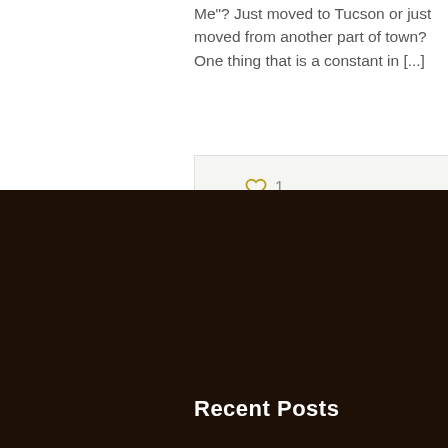Me”? Just moved to Tucson or just moved from another part of town? One thing that is a constant in [...]
♡ 1   Read more
Recent Posts
Tucson Men’s Haircut
Tucson Barbershop Near Me
Tucson Best Straight Razor Shave
How to Become a Barber in Arizona